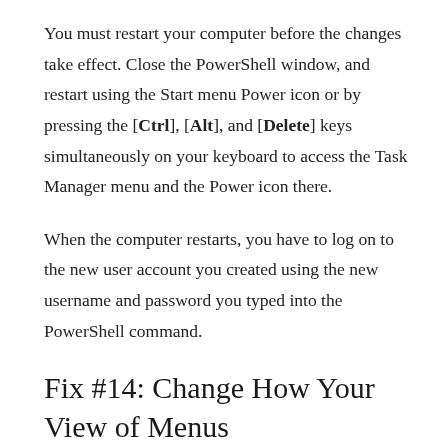You must restart your computer before the changes take effect. Close the PowerShell window, and restart using the Start menu Power icon or by pressing the [Ctrl], [Alt], and [Delete] keys simultaneously on your keyboard to access the Task Manager menu and the Power icon there.
When the computer restarts, you have to log on to the new user account you created using the new username and password you typed into the PowerShell command.
Fix #14: Change How Your View of Menus